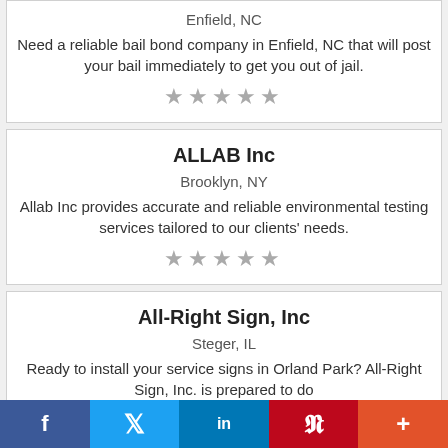Enfield, NC
Need a reliable bail bond company in Enfield, NC that will post your bail immediately to get you out of jail.
[Figure (other): Five grey star rating icons]
ALLAB Inc
Brooklyn, NY
Allab Inc provides accurate and reliable environmental testing services tailored to our clients’ needs.
[Figure (other): Five grey star rating icons]
All-Right Sign, Inc
Steger, IL
Ready to install your service signs in Orland Park? All-Right Sign, Inc. is prepared to do
[Figure (infographic): Social media sharing bar with Facebook, Twitter, LinkedIn, Pinterest, and More buttons]